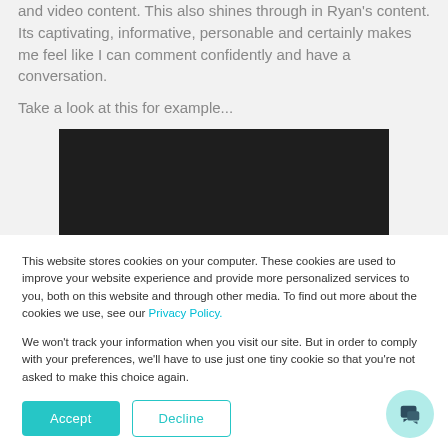and video content. This also shines through in Ryan's content. Its captivating, informative, personable and certainly makes me feel like I can comment confidently and have a conversation.
Take a look at this for example...
[Figure (other): Dark video player placeholder rectangle]
This website stores cookies on your computer. These cookies are used to improve your website experience and provide more personalized services to you, both on this website and through other media. To find out more about the cookies we use, see our Privacy Policy.
We won't track your information when you visit our site. But in order to comply with your preferences, we'll have to use just one tiny cookie so that you're not asked to make this choice again.